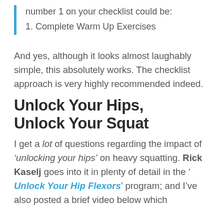number 1 on your checklist could be:
1. Complete Warm Up Exercises
And yes, although it looks almost laughably simple, this absolutely works. The checklist approach is very highly recommended indeed.
Unlock Your Hips, Unlock Your Squat
I get a lot of questions regarding the impact of ‘unlocking your hips’ on heavy squatting. Rick Kaselj goes into it in plenty of detail in the ‘Unlock Your Hip Flexors’ program; and I’ve also posted a brief video below which